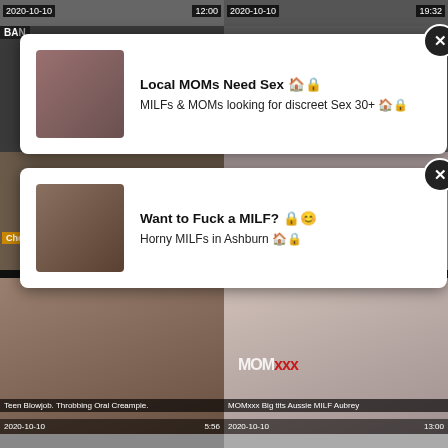[Figure (screenshot): Top thumbnail strip showing two video thumbnails with dates 2020-10-10 and durations 12:00 and 19:32]
[Figure (screenshot): Ad card 1: Local MOMs Need Sex - MILFs & MOMs looking for discreet Sex 30+ with close button]
[Figure (screenshot): Middle thumbnail row with two video previews and channel label]
[Figure (screenshot): Ad card 2: Want to Fuck a MILF? - Horny MILFs in Ashburn with close button]
Teen Blowjob. Throbbing Oral Creampie.
MOMxxx Big tits Aussie MILF Aubrey